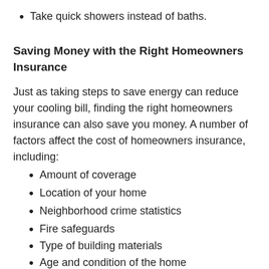Take quick showers instead of baths.
Saving Money with the Right Homeowners Insurance
Just as taking steps to save energy can reduce your cooling bill, finding the right homeowners insurance can also save you money. A number of factors affect the cost of homeowners insurance, including:
Amount of coverage
Location of your home
Neighborhood crime statistics
Fire safeguards
Type of building materials
Age and condition of the home
Claims record